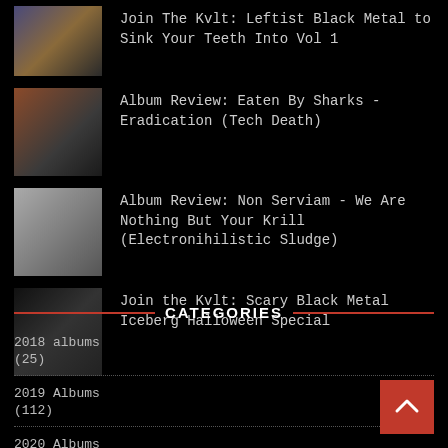Join The Kvlt: Leftist Black Metal to Sink Your Teeth Into Vol 1
Album Review: Eaten By Sharks - Eradication (Tech Death)
Album Review: Non Serviam - We Are Nothing But Your Krill (Electronihilistic Sludge)
Join the Kvlt: Scary Black Metal Iceberg Halloween Special
CATEGORIES
2018 albums
(25)
2019 Albums
(112)
2020 Albums